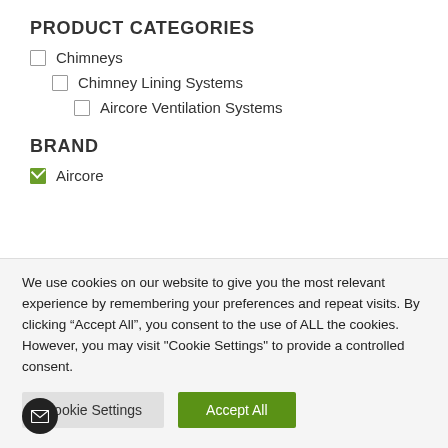PRODUCT CATEGORIES
Chimneys
Chimney Lining Systems
Aircore Ventilation Systems
BRAND
Aircore
We use cookies on our website to give you the most relevant experience by remembering your preferences and repeat visits. By clicking “Accept All”, you consent to the use of ALL the cookies. However, you may visit "Cookie Settings" to provide a controlled consent.